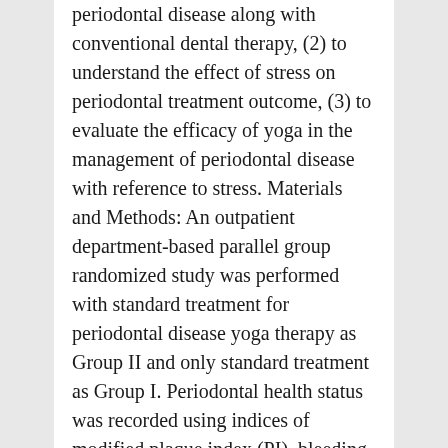periodontal disease along with conventional dental therapy, (2) to understand the effect of stress on periodontal treatment outcome, (3) to evaluate the efficacy of yoga in the management of periodontal disease with reference to stress. Materials and Methods: An outpatient department-based parallel group randomized study was performed with standard treatment for periodontal disease yoga therapy as Group II and only standard treatment as Group I. Periodontal health status was recorded using indices of modified plaque index (PI), bleeding on probing (BOP), probing depth, and clinical attachment loss (CAL). The